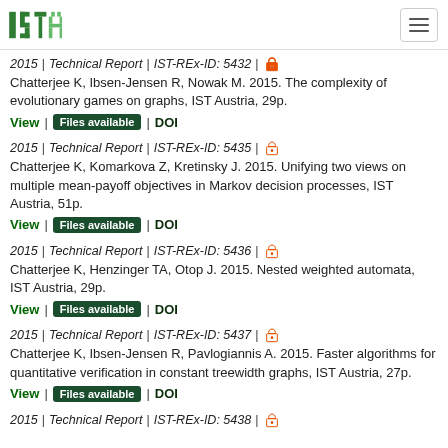ISTA logo and navigation
2015 | Technical Report | IST-REx-ID: 5432 | [open access]
Chatterjee K, Ibsen-Jensen R, Nowak M. 2015. The complexity of evolutionary games on graphs, IST Austria, 29p.
View | Files available | DOI
2015 | Technical Report | IST-REx-ID: 5435 | [open access]
Chatterjee K, Komarkova Z, Kretinsky J. 2015. Unifying two views on multiple mean-payoff objectives in Markov decision processes, IST Austria, 51p.
View | Files available | DOI
2015 | Technical Report | IST-REx-ID: 5436 | [open access]
Chatterjee K, Henzinger TA, Otop J. 2015. Nested weighted automata, IST Austria, 29p.
View | Files available | DOI
2015 | Technical Report | IST-REx-ID: 5437 | [open access]
Chatterjee K, Ibsen-Jensen R, Pavlogiannis A. 2015. Faster algorithms for quantitative verification in constant treewidth graphs, IST Austria, 27p.
View | Files available | DOI
2015 | Technical Report | IST-REx-ID: 5438 | [open access]